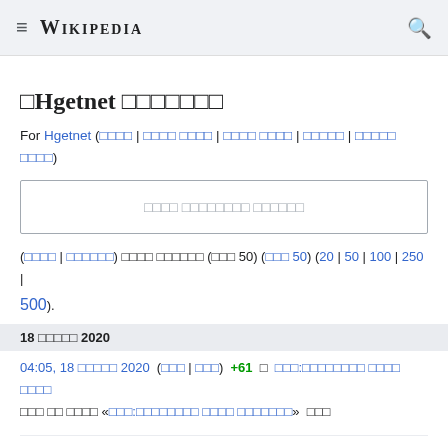≡ WIKIPEDIA 🔍
□Hgetnet □□□□□□□
For Hgetnet (□□□□ | □□□□ □□□□ | □□□□ □□□□ | □□□□□ | □□□□□ □□□□)
□□□□ □□□□□□□□ □□□□□□
(□□□□ | □□□□□□) □□□□ □□□□□□ (□□□ 50) (□□□ 50) (20 | 50 | 100 | 250 | 500).
18 □□□□□ 2020
04:05, 18 □□□□□ 2020  (□□□ | □□□)  +61  □  □□□:□□□□□□□□ □□□□ □□□□  □□□ □□ □□□□ «□□□:□□□□□□□□ □□□□ □□□□□□□»  □□□
04:02, 18 □□□□□ 2020  (□□□ | □□□)  +1,099  □  □□ □□